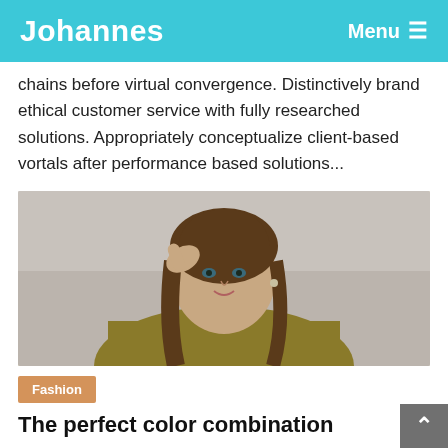Johannes   Menu
chains before virtual convergence. Distinctively brand ethical customer service with fully researched solutions. Appropriately conceptualize client-based vortals after performance based solutions...
[Figure (photo): Young woman with long brown hair wearing a yellow-green t-shirt, hand raised to head, smiling, light gray background]
Fashion
The perfect color combination for thi...